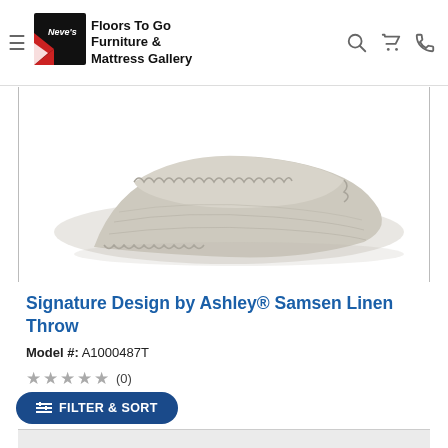Neve's Floors To Go Furniture & Mattress Gallery
[Figure (photo): Folded light gray/linen textured throw blanket with decorative fringe/tufted edges, shown on white background]
Signature Design by Ashley® Samsen Linen Throw
Model #: A1000487T
(0)
ote